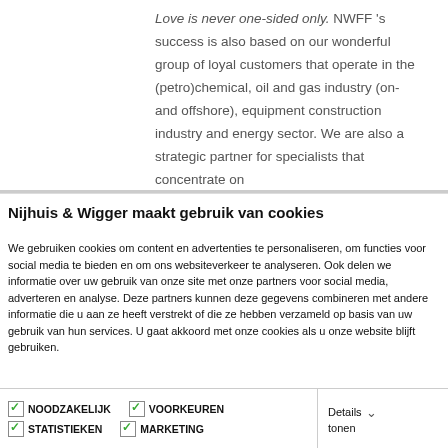Love is never one-sided only. NWFF 's success is also based on our wonderful group of loyal customers that operate in the (petro)chemical, oil and gas industry (on- and offshore), equipment construction industry and energy sector. We are also a strategic partner for specialists that concentrate on
Nijhuis & Wigger maakt gebruik van cookies
We gebruiken cookies om content en advertenties te personaliseren, om functies voor social media te bieden en om ons websiteverkeer te analyseren. Ook delen we informatie over uw gebruik van onze site met onze partners voor social media, adverteren en analyse. Deze partners kunnen deze gegevens combineren met andere informatie die u aan ze heeft verstrekt of die ze hebben verzameld op basis van uw gebruik van hun services. U gaat akkoord met onze cookies als u onze website blijft gebruiken.
NOODZAKELIJK | VOORKEUREN | STATISTIEKEN | MARKETING | Details tonen